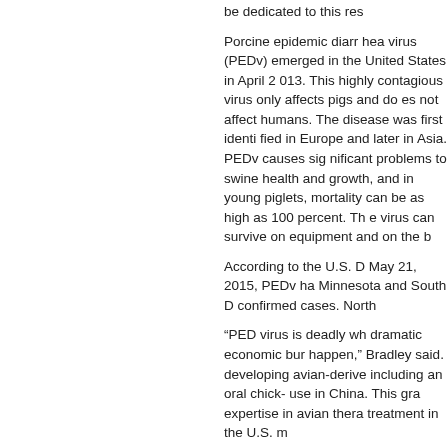be dedicated to this res
Porcine epidemic diarrhea virus (PEDv) emerged in the United States in April 2013. This highly contagious virus only affects pigs and does not affect humans. The disease was first identified in Europe and later in Asia. PEDv causes significant problems to swine health and growth, and in young piglets, mortality can be as high as 100 percent. The virus can survive on equipment and on the b
According to the U.S. D May 21, 2015, PEDv ha Minnesota and South D confirmed cases. North
“PED virus is deadly wh dramatic economic bur happen,” Bradley said. developing avian-derive including an oral chick- use in China. This gra expertise in avian thera treatment in the U.S. m
Bradley’s project is title Immunotherapeutic and